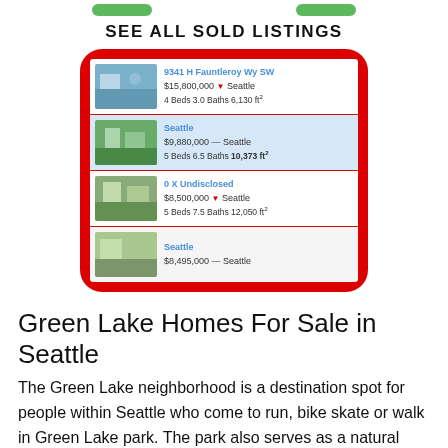[Figure (screenshot): Two green buttons at top of page (partially visible)]
SEE ALL SOLD LISTINGS
[Figure (screenshot): Red rounded rectangle containing a list of sold real estate listings: 9341 H Fauntleroy Wy SW $15,800,000 Seattle 4 Beds 3.0 Baths 6,130 ft²; Seattle $9,880,000 — Seattle 5 Beds 6.5 Baths 10,373 ft²; 0 X Undisclosed $8,500,000 Seattle 5 Beds 7.5 Baths 12,050 ft²; Seattle $8,495,000 — Seattle]
Green Lake Homes For Sale in Seattle
The Green Lake neighborhood is a destination spot for people within Seattle who come to run, bike skate or walk in Green Lake park. The park also serves as a natural preserve for hundreds of species of trees, plants and birds. Homes are